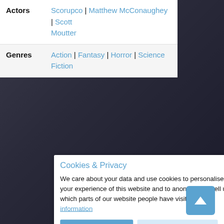| Actors | Scorupco | Matthew McConaughey | Scott Moutter |
| Genres | Action | Fantasy | Horror | Science Fiction |
Cookies & Privacy
We care about your data and use cookies to personalise your experience of this website and to anonymously tell us which parts of our website people have visited. More information
Accept Cookies | Customise Cookies